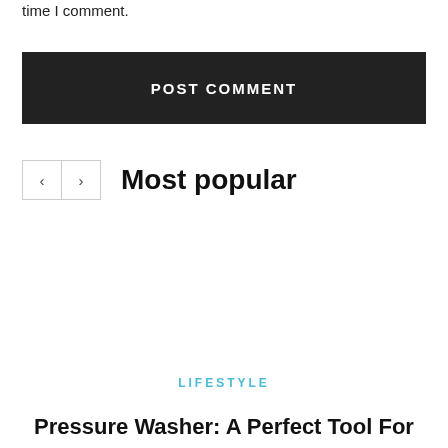time I comment.
POST COMMENT
Most popular
LIFESTYLE
Pressure Washer: A Perfect Tool For